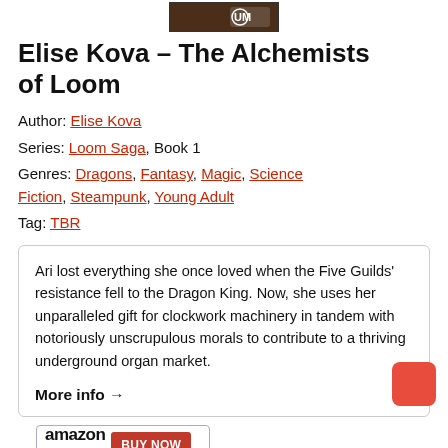[Figure (photo): Book cover thumbnail image at the top center of the page showing a dark fantasy image with a logo]
Elise Kova – The Alchemists of Loom
Author: Elise Kova
Series: Loom Saga, Book 1
Genres: Dragons, Fantasy, Magic, Science Fiction, Steampunk, Young Adult
Tag: TBR
Ari lost everything she once loved when the Five Guilds' resistance fell to the Dragon King. Now, she uses her unparalleled gift for clockwork machinery in tandem with notoriously unscrupulous morals to contribute to a thriving underground organ market.
More info →
[Figure (logo): Amazon Buy Now button/banner]